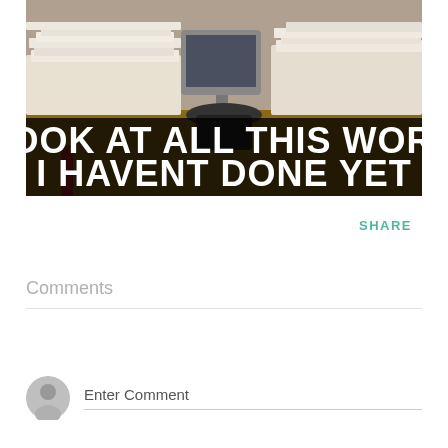[Figure (photo): A meme image showing a very messy office desk covered in huge piles of papers and documents, with an old CRT monitor visible in the background. Bold white text on a dark overlay reads: LOOK AT ALL THIS WORK I HAVENT DONE YET]
SHARE
Comments
Enter Comment